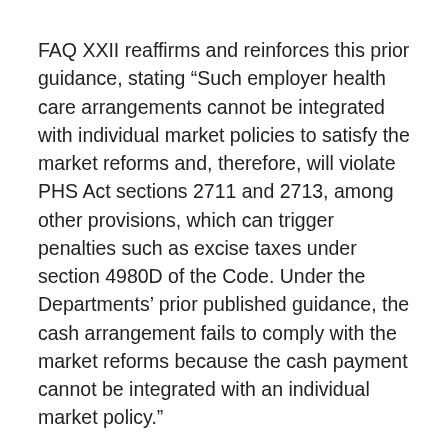FAQ XXII reaffirms and reinforces this prior guidance, stating “Such employer health care arrangements cannot be integrated with individual market policies to satisfy the market reforms and, therefore, will violate PHS Act sections 2711 and 2713, among other provisions, which can trigger penalties such as excise taxes under section 4980D of the Code. Under the Departments’ prior published guidance, the cash arrangement fails to comply with the market reforms because the cash payment cannot be integrated with an individual market policy.”
Another potential arises under the various tax and non-discrimination rules of the Code and other federal laws. For instance, Code sections 105, 125 and other Code provisions prohibitions against discrimination in favor of highly compensated or key employees could arise based